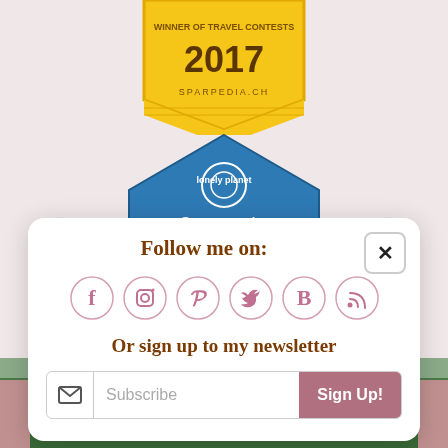[Figure (logo): Sparpedia.ch award badge 2017 in gold/yellow ribbon style with text 'WINNER OF TRAVEL CONTESTS 2017 SPARPEDIA.CH']
[Figure (logo): Lonely Planet Community Pathfinders badge in blue pentagon/house shape with 'lonely planet' logo at top, 'Community' text, and 'PATHFINDERS' text]
[Figure (screenshot): A modal popup with 'Follow me on:' heading, six social media icons (Facebook, Instagram, Pinterest, Twitter, Bloglovin, RSS), 'Or sign up to my newsletter' text, and a Subscribe email input with Sign Up! button]
[Figure (photo): Castle or church building with white domes and towers surrounded by forest trees, seen from a distance]